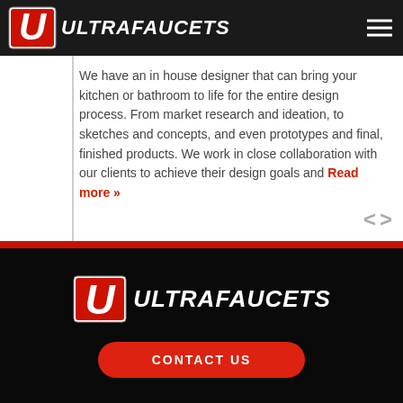[Figure (logo): Ultra Faucets logo in header bar — stylized U emblem in red/white square frame followed by ULTRAFAUCETS italic bold text in white on dark background]
We have an in house designer that can bring your kitchen or bathroom to life for the entire design process. From market research and ideation, to sketches and concepts, and even prototypes and final, finished products. We work in close collaboration with our clients to achieve their design goals and Read more »
[Figure (logo): Ultra Faucets footer logo — stylized U emblem followed by ULTRAFAUCETS italic bold text in white on black background]
CONTACT US